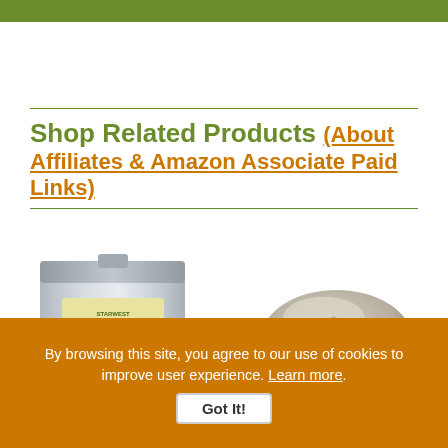[Figure (other): Green bar at top of page]
Shop Related Products (About Affiliates & Amazon Associate Paid Links)
[Figure (photo): Product image: silver/foil bag of herbal supplement (Starwest Botanicals style packaging)]
[Figure (photo): Product image: pile of beige/grey powder on white background]
By browsing this site, you agree to our use of cookies to improve user experience. Learn more. Got It!